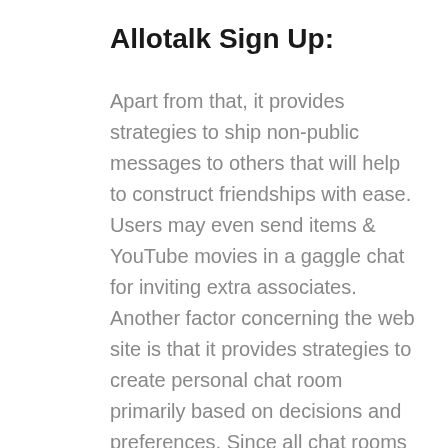Allotalk Sign Up:
Apart from that, it provides strategies to ship non-public messages to others that will help to construct friendships with ease. Users may even send items & YouTube movies in a gaggle chat for inviting extra associates. Another factor concerning the web site is that it provides strategies to create personal chat room primarily based on decisions and preferences. Since all chat rooms run quick, it doesn’t require any plug-ins. Although the app model is handy to make use of, it’s out there just for android phones. We will at all times forestall a boatload of complications as